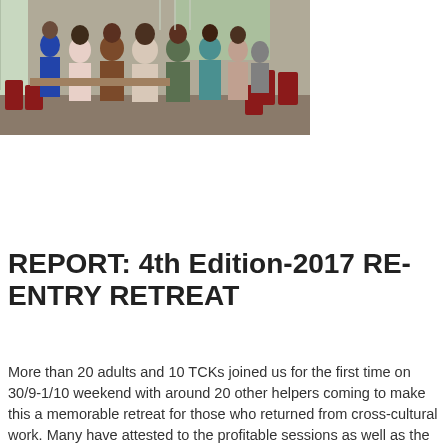[Figure (photo): A group of people standing in a conference room with red chairs, facing a presentation screen. Photo taken from behind the audience.]
REPORT: 4th Edition-2017 RE-ENTRY RETREAT
More than 20 adults and 10 TCKs joined us for the first time on 30/9-1/10 weekend with around 20 other helpers coming to make this a memorable retreat for those who returned from cross-cultural work. Many have attested to the profitable sessions as well as the camaraderie spirit since all have gone